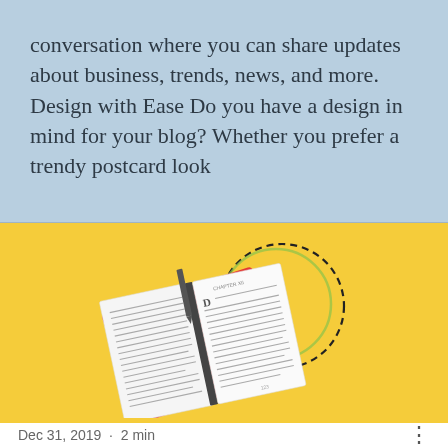conversation where you can share updates about business, trends, news, and more. Design with Ease Do you have a design in mind for your blog? Whether you prefer a trendy postcard look
[Figure (illustration): An open book with red cover, tilted at an angle, on a yellow background. A dashed black circle and a green circle outline are visible to the right of the book.]
Dec 31, 2019  ·  2 min